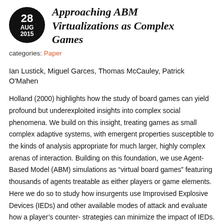Approaching ABM Virtualizations as Complex Games
categories: Paper
Ian Lustick, Miguel Garces, Thomas McCauley, Patrick O'Mahen
Holland (2000) highlights how the study of board games can yield profound but underexploited insights into complex social phenomena. We build on this insight, treating games as small complex adaptive systems, with emergent properties susceptible to the kinds of analysis appropriate for much larger, highly complex arenas of interaction. Building on this foundation, we use Agent-Based Model (ABM) simulations as “virtual board games” featuring thousands of agents treatable as either players or game elements. Here we do so to study how insurgents use Improvised Explosive Devices (IEDs) and other available modes of attack and evaluate how a player’s counter-strategies can minimize the impact of IEDs. To develop this complex game, we use our Virtual Strategic Analysis and Forecasting Tool (V-SAFT). V-SAFT is an in-progress ABM simulation platform for building...